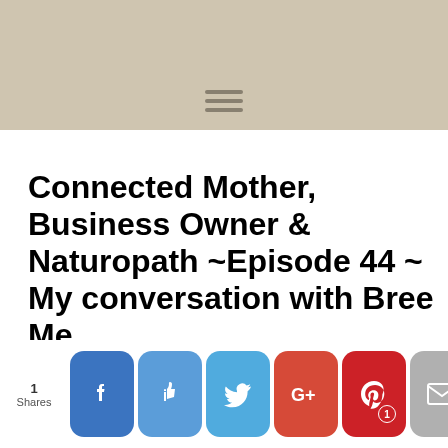[Figure (other): Tan/beige header bar with hamburger menu icon]
Connected Mother, Business Owner & Naturopath ~Episode 44 ~ My conversation with Bree Me...
[Figure (other): Social sharing bar with Facebook, Like, Twitter, Google+, Pinterest (1), Email, and Crown buttons, with Shares label on left]